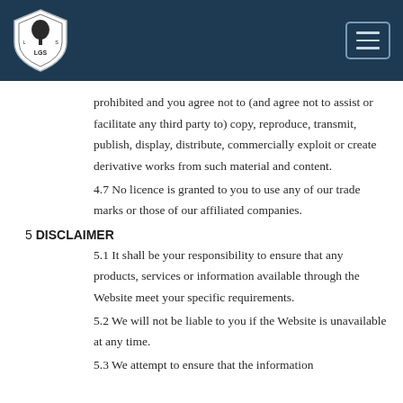[Figure (logo): Shield-shaped school logo with initials LGS and a tree, on dark blue header bar]
prohibited and you agree not to (and agree not to assist or facilitate any third party to) copy, reproduce, transmit, publish, display, distribute, commercially exploit or create derivative works from such material and content.
4.7 No licence is granted to you to use any of our trade marks or those of our affiliated companies.
5 DISCLAIMER
5.1 It shall be your responsibility to ensure that any products, services or information available through the Website meet your specific requirements.
5.2 We will not be liable to you if the Website is unavailable at any time.
5.3 We attempt to ensure that the information